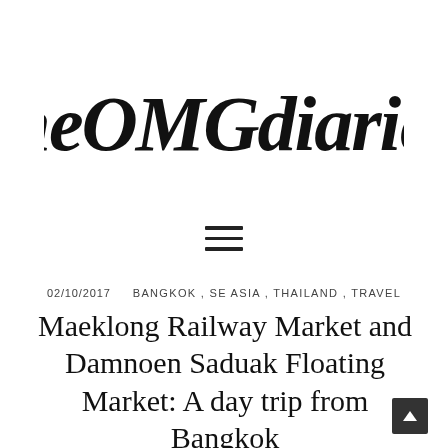[Figure (logo): theOMGdiaries handwritten brush script logo in black on white background]
[Figure (other): Hamburger menu icon — three horizontal black lines stacked]
02/10/2017    BANGKOK , SE ASIA , THAILAND , TRAVEL
Maeklong Railway Market and Damnoen Saduak Floating Market: A day trip from Bangkok